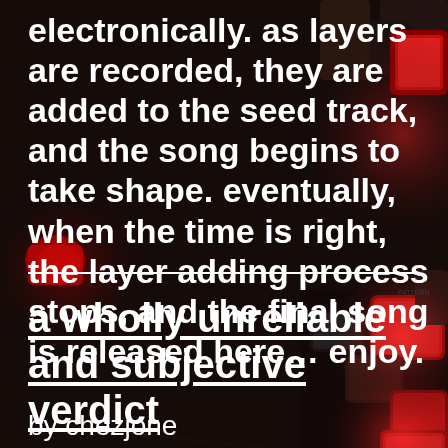[Figure (photo): Close-up photograph of a dark music production hardware device (drum machine or sequencer) with illuminated red and white buttons/pads and various controls visible]
shared with the participants electronically. as layers are recorded, they are added to the seed track, and the song begins to take shape. eventually, when the time is right, the layer adding process stops, and the final song is released here… enjoy.
a wholly unreliable and subjective verdict
by chezjone